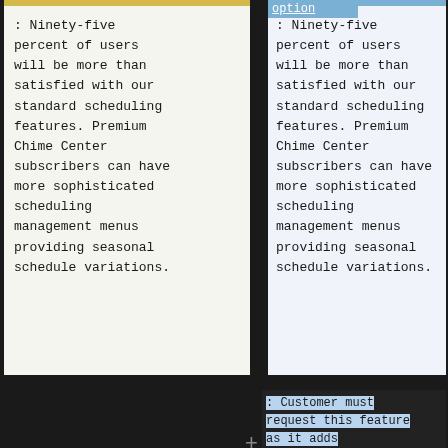: Ninety-five percent of users will be more than satisfied with our standard scheduling features. Premium Chime Center subscribers can have more sophisticated scheduling management menus providing seasonal schedule variations.
option
: Ninety-five percent of users will be more than satisfied with our standard scheduling features. Premium Chime Center subscribers can have more sophisticated scheduling management menus providing seasonal schedule variations.
: Customer must request this feature as it adds complexity to the scheduling menus that most users do not need.